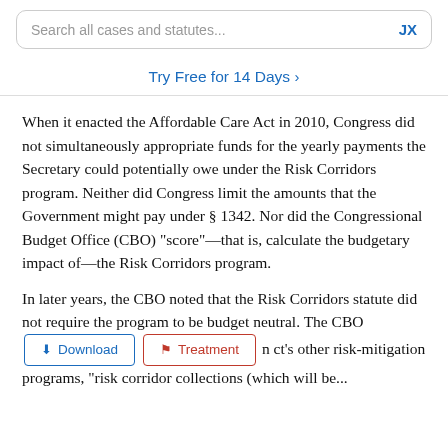Search all cases and statutes...  JX
Try Free for 14 Days >
When it enacted the Affordable Care Act in 2010, Congress did not simultaneously appropriate funds for the yearly payments the Secretary could potentially owe under the Risk Corridors program. Neither did Congress limit the amounts that the Government might pay under § 1342. Nor did the Congressional Budget Office (CBO) “score”—that is, calculate the budgetary impact of—the Risk Corridors program.
In later years, the CBO noted that the Risk Corridors statute did not require the program to be budget neutral. The CBO [Download] [Treatment] n ct's other risk-mitigation programs, “risk corridor collections (which will be...
[Figure (screenshot): Two overlay buttons: a blue 'Download' button and a red 'Treatment' button appearing inline within the legal text.]